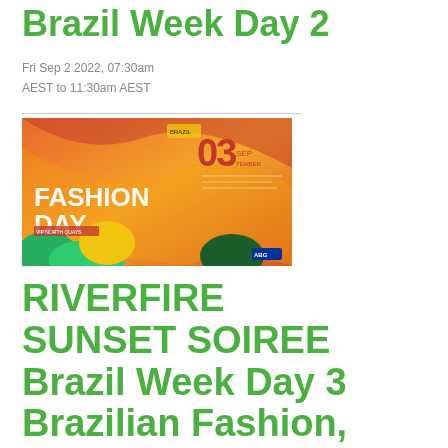Brazil Week Day 2
Fri Sep 2 2022, 07:30am AEST to 11:30am AEST
[Figure (photo): Brazil Fashion Day promotional banner for 03 September, featuring orange and green abstract design with text FASHION DAY and Brazil Week branding]
RIVERFIRE SUNSET SOIREE Brazil Week Day 3 Brazilian Fashion, Cuisine, Music & Dance